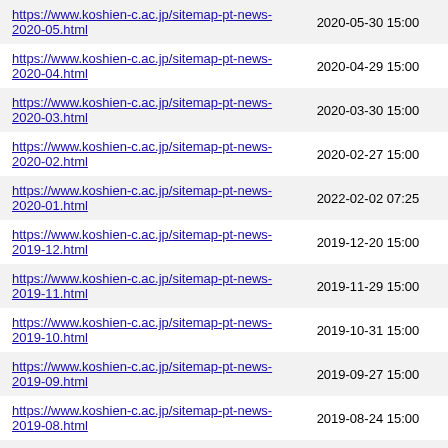| URL | Date |
| --- | --- |
| https://www.koshien-c.ac.jp/sitemap-pt-news-2020-05.html | 2020-05-30 15:00 |
| https://www.koshien-c.ac.jp/sitemap-pt-news-2020-04.html | 2020-04-29 15:00 |
| https://www.koshien-c.ac.jp/sitemap-pt-news-2020-03.html | 2020-03-30 15:00 |
| https://www.koshien-c.ac.jp/sitemap-pt-news-2020-02.html | 2020-02-27 15:00 |
| https://www.koshien-c.ac.jp/sitemap-pt-news-2020-01.html | 2022-02-02 07:25 |
| https://www.koshien-c.ac.jp/sitemap-pt-news-2019-12.html | 2019-12-20 15:00 |
| https://www.koshien-c.ac.jp/sitemap-pt-news-2019-11.html | 2019-11-29 15:00 |
| https://www.koshien-c.ac.jp/sitemap-pt-news-2019-10.html | 2019-10-31 15:00 |
| https://www.koshien-c.ac.jp/sitemap-pt-news-2019-09.html | 2019-09-27 15:00 |
| https://www.koshien-c.ac.jp/sitemap-pt-news-2019-08.html | 2019-08-24 15:00 |
| https://www.koshien-c.ac.jp/sitemap-pt-news-2019-07.html | 2019-07-30 15:00 |
| https://www.koshien-c.ac.jp/sitemap-pt-news-2019-06.html | 2019-06-30 15:00 |
| https://www.koshien-c.ac.jp/sitemap-pt-news-2019-05.html | 2019-05-30 15:00 |
| https://www.koshien-c.ac.jp/sitemap-pt-news-2019-04.html | 2019-04-19 15:00 |
| https://www.koshien-c.ac.jp/sitemap-pt-news-2019-03.html | 2019-03-26 15:00 |
| https://www.koshien-c.ac.jp/sitemap-pt-news-2019-02.html | 2019-02-22 15:00 |
| https://www.koshien-c.ac.jp/sitemap-pt-news-2019-01.html | 2019-01-30 15:00 |
| https://www.koshien-c.ac.jp/sitemap-pt-news-2018-12.html | 2018-12-14 15:00 |
| https://www.koshien-c.ac.jp/sitemap-pt-news-2018-11.html | 2018-11-29 15:00 |